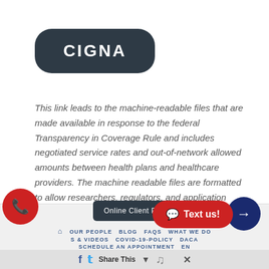[Figure (logo): Cigna logo — white text 'CIGNA' on dark rounded rectangle badge]
This link leads to the machine-readable files that are made available in response to the federal Transparency in Coverage Rule and includes negotiated service rates and out-of-network allowed amounts between health plans and healthcare providers. The machine readable files are formatted to allow researchers, regulators, and application developers to more easily access and analyze data.
OUR PEOPLE  BLOG  FAQS  WHAT WE DO  S & VIDEOS  COVID-19-POLICY  DACA  SCHEDULE AN APPOINTMENT  EN  Online Client Payment  Share This